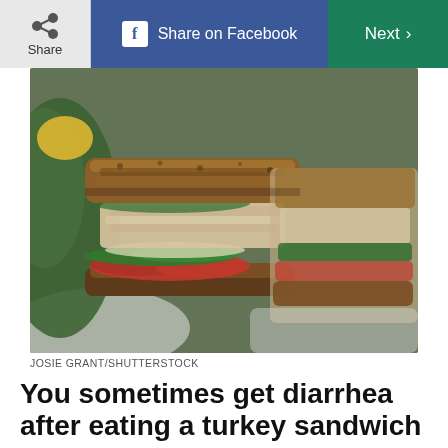Share | Share on Facebook | Next >
[Figure (photo): Close-up photo of a turkey sandwich cut in half, showing layers of sliced turkey, bacon, roasted red peppers, spinach/arugula, on dark multigrain bread, served on a white plate. Credit: JOSIE GRANT/SHUTTERSTOCK]
JOSIE GRANT/SHUTTERSTOCK
You sometimes get diarrhea after eating a turkey sandwich
Your stomach's saying: Are you sure you're not lactose intolerant? Many people don't realize they